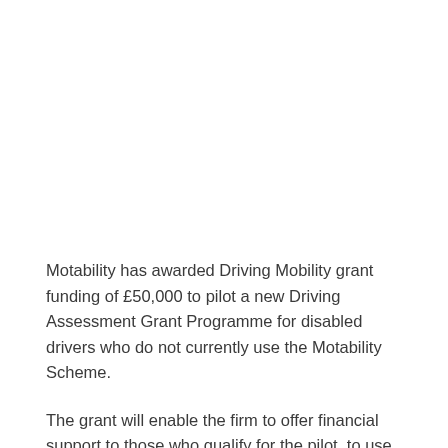Motability has awarded Driving Mobility grant funding of £50,000 to pilot a new Driving Assessment Grant Programme for disabled drivers who do not currently use the Motability Scheme.
The grant will enable the firm to offer financial support to those who qualify for the pilot, to use the services available at Driving Mobility centres.